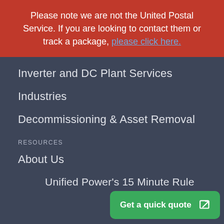Please note we are not the United Postal Service. If you are looking to contact them or track a package, please click here.
Inverter and DC Plant Services
Industries
Decommissioning & Asset Removal
RESOURCES
About Us
Unified Power's 15 Minute Rule
Careers at Unified Power
Sitemap
Service Co...
Get a quick quote